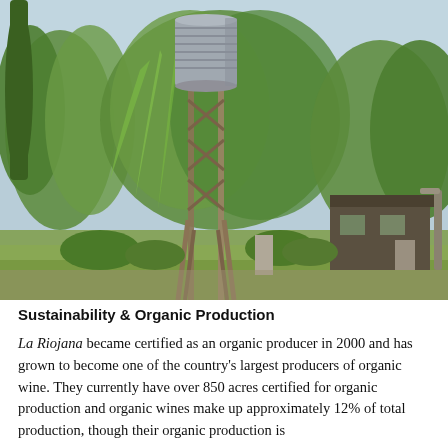[Figure (photo): Outdoor photograph of a farm or winery property showing a tall metal water tower with a cylindrical tank on top, surrounded by lush green trees including weeping willows and other leafy trees. A small building or shed is visible on the right side. The sky is light blue with haze.]
Sustainability & Organic Production
La Riojana became certified as an organic producer in 2000 and has grown to become one of the country's largest producers of organic wine. They currently have over 850 acres certified for organic production and organic wines make up approximately 12% of total production, though their organic production is